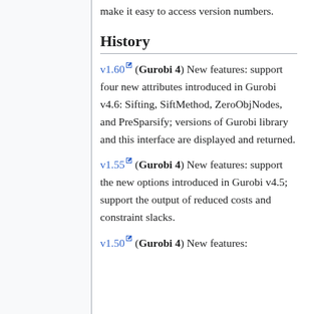make it easy to access version numbers.
History
v1.60 (Gurobi 4) New features: support four new attributes introduced in Gurobi v4.6: Sifting, SiftMethod, ZeroObjNodes, and PreSparsify; versions of Gurobi library and this interface are displayed and returned.
v1.55 (Gurobi 4) New features: support the new options introduced in Gurobi v4.5; support the output of reduced costs and constraint slacks.
v1.50 (Gurobi 4) New features: